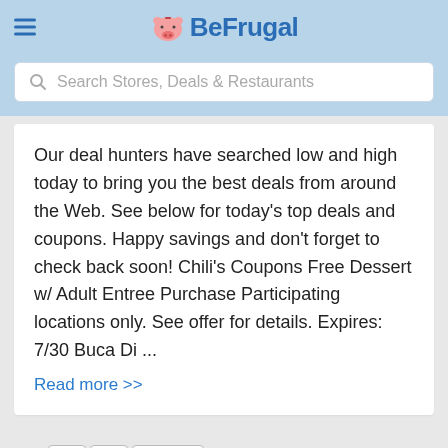BeFrugal
Search Stores, Deals & Restaurants
Our deal hunters have searched low and high today to bring you the best deals from around the Web. See below for today's top deals and coupons. Happy savings and don't forget to check back soon! Chili's Coupons Free Dessert w/ Adult Entree Purchase Participating locations only. See offer for details. Expires: 7/30 Buca Di ...
Read more >>
1  2  3  Next →